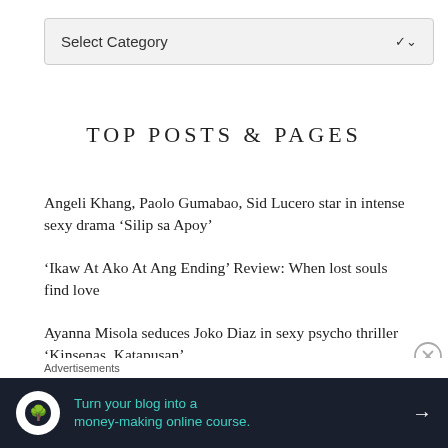[Figure (screenshot): Dropdown selector box with 'Select Category' label and a chevron arrow on the right]
TOP POSTS & PAGES
Angeli Khang, Paolo Gumabao, Sid Lucero star in intense sexy drama ‘Silip sa Apoy’
‘Ikaw At Ako At Ang Ending’ Review: When lost souls find love
Ayanna Misola seduces Joko Diaz in sexy psycho thriller ‘Kinsenas, Katapusan’
Cloe Barretto, Marco Gomez, and Jason Abalos heat up the screen in ‘Silah’
Advertisements
[Figure (other): Advertisement banner: dark background with circular tree logo icon, teal text 'Turn your blog into a money-making online course.' and a white arrow]